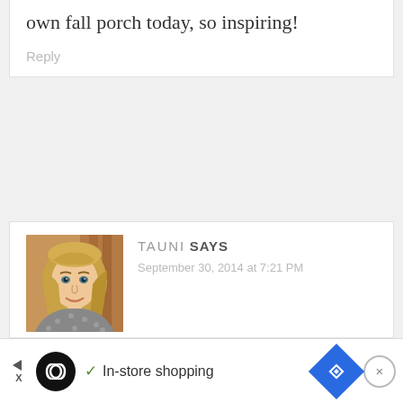every little detail, working on my own fall porch today, so inspiring!
Reply
[Figure (photo): Portrait photo of a woman with blonde hair smiling, wearing a grey polka dot top]
TAUNI SAYS
September 30, 2014 at 7:21 PM
I don't have a perfect ponytail or a perfect front porch, but I do know
[Figure (infographic): Advertisement bar at the bottom: Infinity symbol logo, checkmark, In-store shopping text, blue diamond navigation icon, close button]